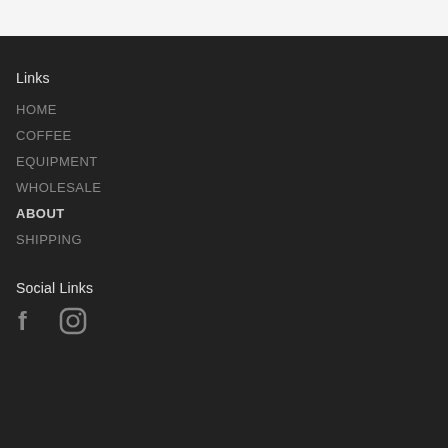Links
HOME
COFFEE
EQUIPMENT
WHOLESALE
ABOUT
SHIPPING
Social Links
[Figure (illustration): Facebook and Instagram social media icons in grey on dark background]